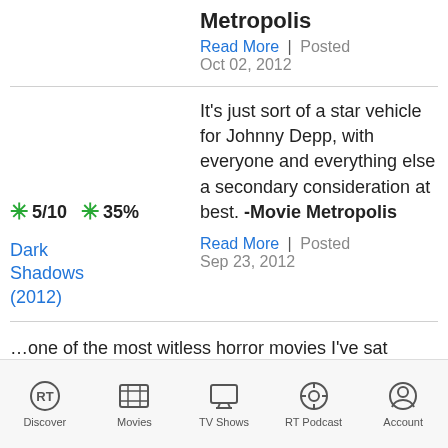Metropolis
Read More | Posted Oct 02, 2012
It's just sort of a star vehicle for Johnny Depp, with everyone and everything else a secondary consideration at best. -Movie Metropolis
Dark Shadows (2012)
Read More | Posted Sep 23, 2012
…one of the most witless horror movies I've sat through, essentially a
Discover | Movies | TV Shows | RT Podcast | Account